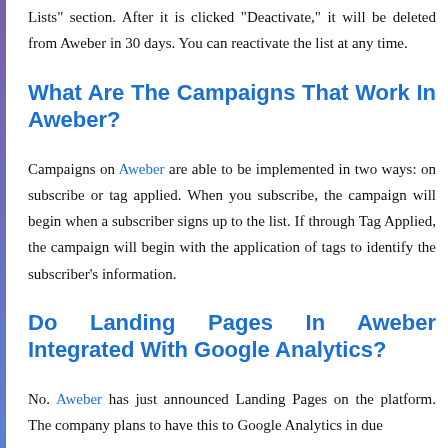Lists" section. After it is clicked "Deactivate," it will be deleted from Aweber in 30 days. You can reactivate the list at any time.
What Are The Campaigns That Work In Aweber?
Campaigns on Aweber are able to be implemented in two ways: on subscribe or tag applied. When you subscribe, the campaign will begin when a subscriber signs up to the list. If through Tag Applied, the campaign will begin with the application of tags to identify the subscriber's information.
Do Landing Pages In Aweber Integrated With Google Analytics?
No. Aweber has just announced Landing Pages on the platform. The company plans to have this to Google Analytics in due